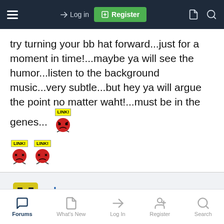Log in | Register
try turning your bb hat forward...just for a moment in time!...maybe ya will see the humor...listen to the background music...very subtle...but hey ya will argue the point no matter waht!...must be in the genes...
[Figure (illustration): Three inline link emoji icons: small yellow sign reading LINK! above a red angry face ball with stick arms, repeated three times]
dmp
Senior Member
Forums | What's New | Log In | Register | Search